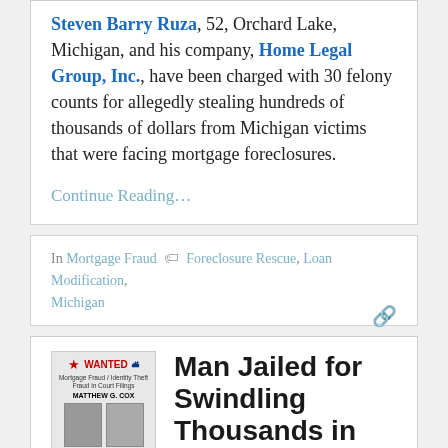Steven Barry Ruza, 52, Orchard Lake, Michigan, and his company, Home Legal Group, Inc., have been charged with 30 felony counts for allegedly stealing hundreds of thousands of dollars from Michigan victims that were facing mortgage foreclosures.
Continue Reading…
In Mortgage Fraud  Foreclosure Rescue, Loan Modification, Michigan
[Figure (other): WANTED poster for Matthew G. Cox, showing two mugshot photos, text about mortgage fraud, and a reward of $913.]
Man Jailed for Swindling Thousands in Fake